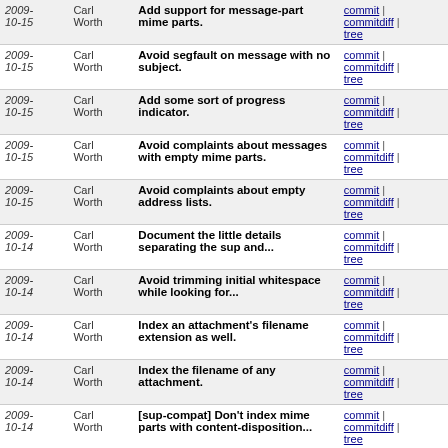| Date | Author | Message | Links |
| --- | --- | --- | --- |
| 2009-10-15 | Carl Worth | Add support for message-part mime parts. | commit | commitdiff | tree |
| 2009-10-15 | Carl Worth | Avoid segfault on message with no subject. | commit | commitdiff | tree |
| 2009-10-15 | Carl Worth | Add some sort of progress indicator. | commit | commitdiff | tree |
| 2009-10-15 | Carl Worth | Avoid complaints about messages with empty mime parts. | commit | commitdiff | tree |
| 2009-10-15 | Carl Worth | Avoid complaints about empty address lists. | commit | commitdiff | tree |
| 2009-10-14 | Carl Worth | Document the little details separating the sup and... | commit | commitdiff | tree |
| 2009-10-14 | Carl Worth | Avoid trimming initial whitespace while looking for... | commit | commitdiff | tree |
| 2009-10-14 | Carl Worth | Index an attachment's filename extension as well. | commit | commitdiff | tree |
| 2009-10-14 | Carl Worth | Index the filename of any attachment. | commit | commitdiff | tree |
| 2009-10-14 | Carl Worth | [sup-compat] Don't index mime parts with content-disposition... | commit | commitdiff | tree |
| 2009-10-14 | Carl Worth | Add label "attachment" when an attachment is seen. | commit | commitdiff | tree |
| 2009-10-14 | Carl Worth | Split thread_id value on commas before inserting into... | commit | commitdiff |